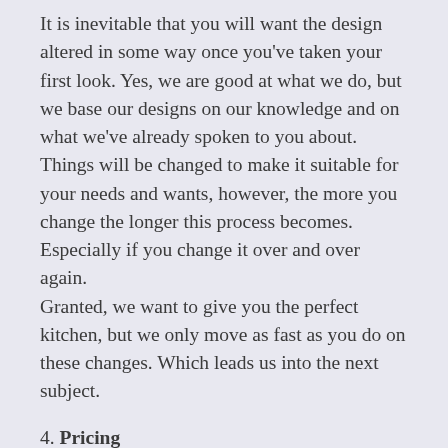It is inevitable that you will want the design altered in some way once you've taken your first look. Yes, we are good at what we do, but we base our designs on our knowledge and on what we've already spoken to you about. Things will be changed to make it suitable for your needs and wants, however, the more you change the longer this process becomes. Especially if you change it over and over again. Granted, we want to give you the perfect kitchen, but we only move as fast as you do on these changes. Which leads us into the next subject.
4. Pricing
The more you change your design, the price changes every time. We are not in this business to take as much money as we can from you, we are here to give you a